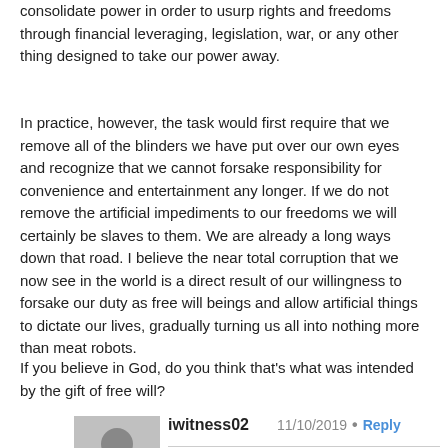consolidate power in order to usurp rights and freedoms through financial leveraging, legislation, war, or any other thing designed to take our power away.
In practice, however, the task would first require that we remove all of the blinders we have put over our own eyes and recognize that we cannot forsake responsibility for convenience and entertainment any longer. If we do not remove the artificial impediments to our freedoms we will certainly be slaves to them. We are already a long ways down that road. I believe the near total corruption that we now see in the world is a direct result of our willingness to forsake our duty as free will beings and allow artificial things to dictate our lives, gradually turning us all into nothing more than meat robots.
If you believe in God, do you think that's what was intended by the gift of free will?
iwitness02
11/10/2019
Reply
Rance,
Remove the authority we have given